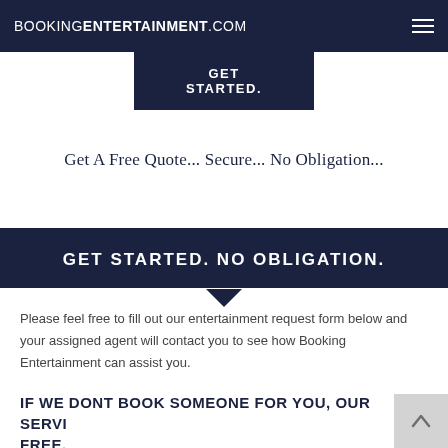BOOKINGENTERTAINMENT.COM
GET STARTED.
Get A Free Quote... Secure... No Obligation...
GET STARTED. NO OBLIGATION.
Please feel free to fill out our entertainment request form below and your assigned agent will contact you to see how Booking Entertainment can assist you.
IF WE DONT BOOK SOMEONE FOR YOU, OUR SERVICES ARE FREE.